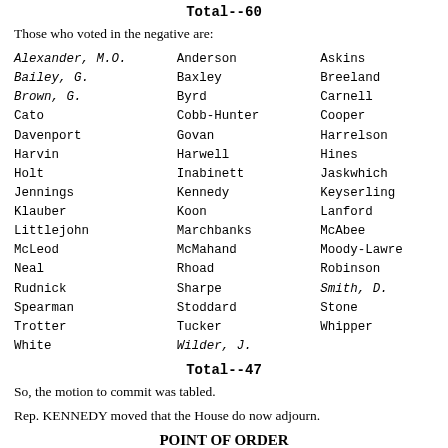Total--60
Those who voted in the negative are:
Alexander, M.O.   Anderson   Askins
Bailey, G.   Baxley   Breeland
Brown, G.   Byrd   Carnell
Cato   Cobb-Hunter   Cooper
Davenport   Govan   Harrelson
Harvin   Harwell   Hines
Holt   Inabinett   Jaskwhich
Jennings   Kennedy   Keyserling
Klauber   Koon   Lanford
Littlejohn   Marchbanks   McAbee
McLeod   McMahand   Moody-Lawrence
Neal   Rhoad   Robinson
Rudnick   Sharpe   Smith, D.
Spearman   Stoddard   Stone
Trotter   Tucker   Whipper
White   Wilder, J.
Total--47
So, the motion to commit was tabled.
Rep. KENNEDY moved that the House do now adjourn.
POINT OF ORDER